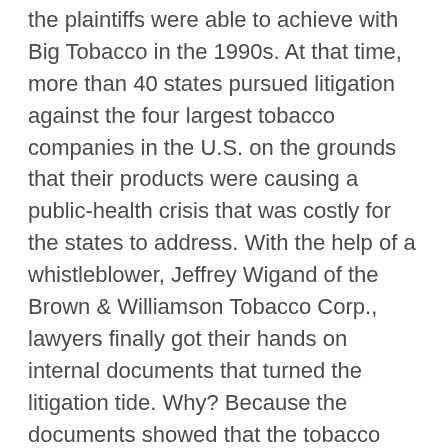the plaintiffs were able to achieve with Big Tobacco in the 1990s. At that time, more than 40 states pursued litigation against the four largest tobacco companies in the U.S. on the grounds that their products were causing a public-health crisis that was costly for the states to address. With the help of a whistleblower, Jeffrey Wigand of the Brown & Williamson Tobacco Corp., lawyers finally got their hands on internal documents that turned the litigation tide. Why? Because the documents showed that the tobacco officials knew how dangerous their products were and did nothing about it.
Following the success of the tobacco litigation, dozens of cities fashioned a similar argument about the public-health and crime-related costs they were forced to pick up from gun violence and brought negligence and public-nuisance suits against the gun industry.
Alarmed, the gun industry and the gun lobby turned to